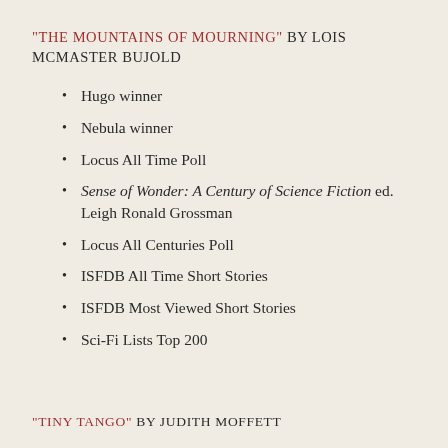"THE MOUNTAINS OF MOURNING" BY LOIS MCMASTER BUJOLD
Hugo winner
Nebula winner
Locus All Time Poll
Sense of Wonder: A Century of Science Fiction ed. Leigh Ronald Grossman
Locus All Centuries Poll
ISFDB All Time Short Stories
ISFDB Most Viewed Short Stories
Sci-Fi Lists Top 200
"TINY TANGO" BY JUDITH MOFFETT